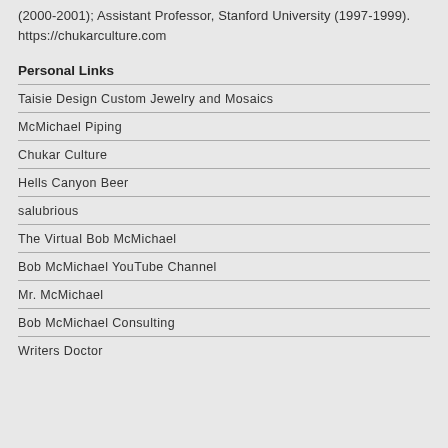(2000-2001); Assistant Professor, Stanford University (1997-1999). https://chukarculture.com
Personal Links
Taisie Design Custom Jewelry and Mosaics
McMichael Piping
Chukar Culture
Hells Canyon Beer
salubrious
The Virtual Bob McMichael
Bob McMichael YouTube Channel
Mr. McMichael
Bob McMichael Consulting
Writers Doctor